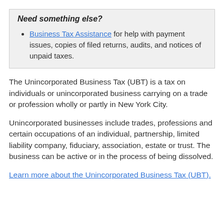Need something else?
Business Tax Assistance for help with payment issues, copies of filed returns, audits, and notices of unpaid taxes.
The Unincorporated Business Tax (UBT) is a tax on individuals or unincorporated business carrying on a trade or profession wholly or partly in New York City.
Unincorporated businesses include trades, professions and certain occupations of an individual, partnership, limited liability company, fiduciary, association, estate or trust. The business can be active or in the process of being dissolved.
Learn more about the Unincorporated Business Tax (UBT).